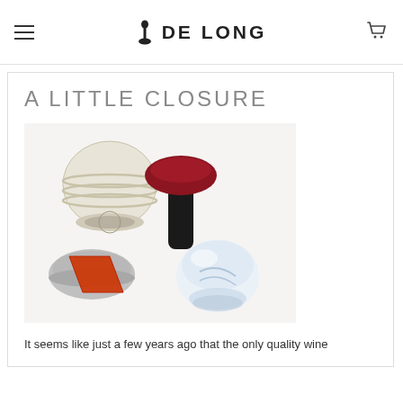DE LONG
A LITTLE CLOSURE
[Figure (photo): Photograph of various wine bottle closures including a cream-colored ribbed plastic stopper, a dark red/black T-top stopper, a silver screw cap with red band, a metal bottle cap, and a glass/crystal stopper, arranged on a white surface.]
It seems like just a few years ago that the only quality wine